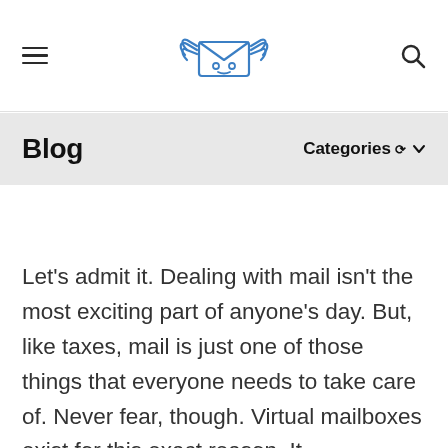[Figure (logo): Winged envelope robot logo in blue outline style, centered in top navigation bar]
Blog
Categories
Let’s admit it. Dealing with mail isn’t the most exciting part of anyone’s day. But, like taxes, mail is just one of those things that everyone needs to take care of. Never fear, though. Virtual mailboxes exist for this exact reason. It